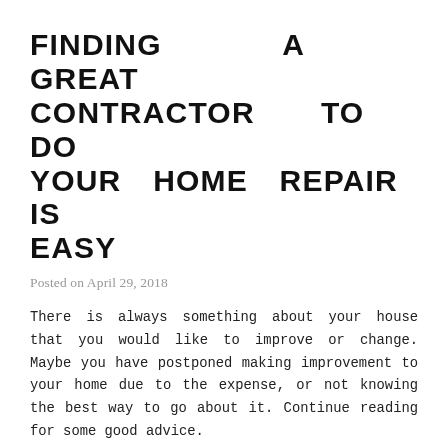FINDING A GREAT CONTRACTOR TO DO YOUR HOME REPAIR IS EASY
Posted on April 29, 2018
There is always something about your house that you would like to improve or change. Maybe you have postponed making improvement to your home due to the expense, or not knowing the best way to go about it. Continue reading for some good advice.
Consider using light colored tile or shingles if you are redoing your roof. This deflects the sun and keeps heat outside in the summer. A massive bill may be prevented through these simple energy-saving tricks.